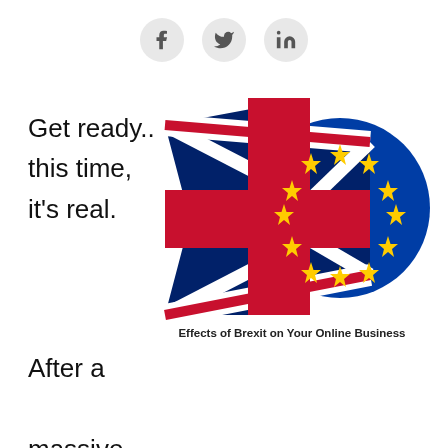[Figure (infographic): Three social media icons (Facebook, Twitter, LinkedIn) in grey circles at the top of the page]
Get ready.. this time, it's real.
[Figure (illustration): Brexit illustration showing a Union Jack flag overlapping with an EU flag (blue circle with yellow stars), with caption 'Effects of Brexit on Your Online Business']
After a massive delay, the UK has officially left the European Union (EU).